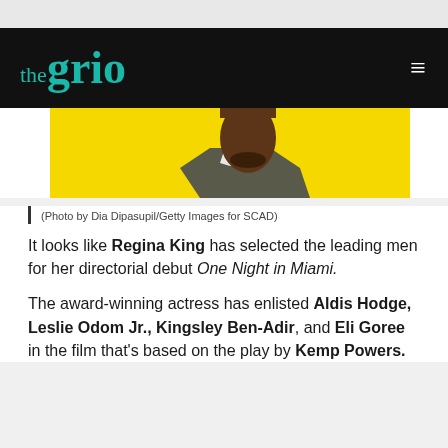theGrio
[Figure (photo): Partial photo of a man in a suit jacket against a yellow background, showing from shoulders up with beard visible — cropped at top of frame]
(Photo by Dia Dipasupil/Getty Images for SCAD)
It looks like Regina King has selected the leading men for her directorial debut One Night in Miami.
The award-winning actress has enlisted Aldis Hodge, Leslie Odom Jr., Kingsley Ben-Adir, and Eli Goree in the film that's based on the play by Kemp Powers.